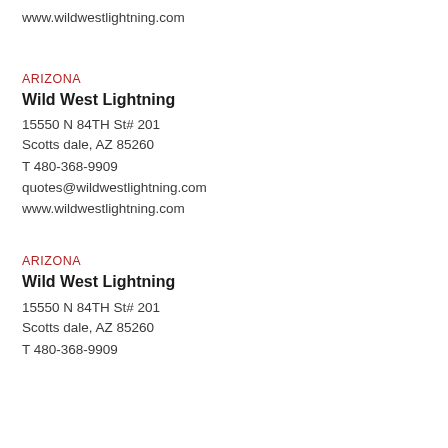www.wildwestlightning.com
ARIZONA
Wild West Lightning
15550 N 84TH St# 201
Scotts dale, AZ 85260
T 480-368-9909
quotes@wildwestlightning.com
www.wildwestlightning.com
ARIZONA
Wild West Lightning
15550 N 84TH St# 201
Scotts dale, AZ 85260
T 480-368-9909